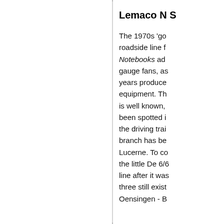Lemaco N S
The 1970s 'go roadside line f Notebooks ad gauge fans, as years produce equipment. Th is well known, been spotted i the driving trai branch has be Lucerne. To co the little De 6/6 line after it was three still exist Oensingen - B